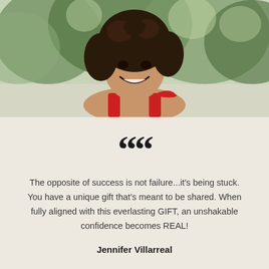[Figure (photo): Young woman with curly dark hair smiling, wearing a red top, photographed outdoors with a blurred green tree background]
““
The opposite of success is not failure...it's being stuck. You have a unique gift that's meant to be shared. When fully aligned with this everlasting GIFT, an unshakable confidence becomes REAL!
Jennifer Villarreal